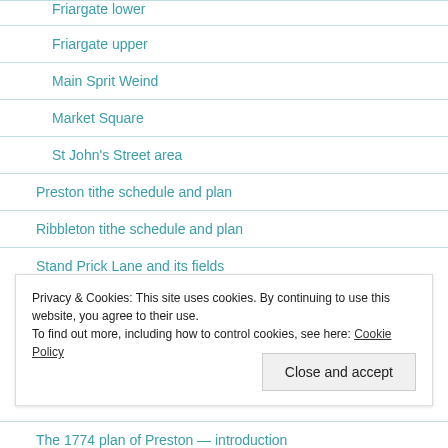Friargate lower
Friargate upper
Main Sprit Weind
Market Square
St John's Street area
Preston tithe schedule and plan
Ribbleton tithe schedule and plan
Stand Prick Lane and its fields
Privacy & Cookies: This site uses cookies. By continuing to use this website, you agree to their use.
To find out more, including how to control cookies, see here: Cookie Policy
The 1774 plan of Preston — introduction